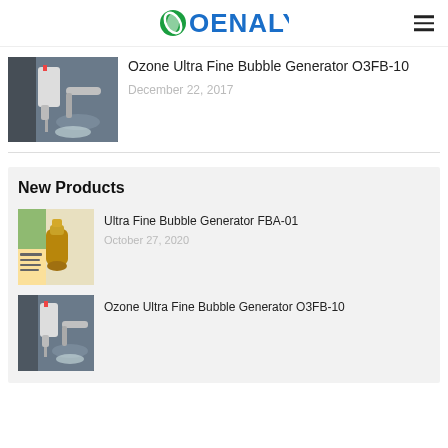OENALY (logo with hamburger menu)
[Figure (photo): Photo of ozone ultra fine bubble generator device attached to a sink faucet]
Ozone Ultra Fine Bubble Generator O3FB-10
December 22, 2017
New Products
[Figure (photo): Photo of Ultra Fine Bubble Generator FBA-01, a bronze/gold colored faucet attachment with green plant and Chinese text]
Ultra Fine Bubble Generator FBA-01
October 27, 2020
[Figure (photo): Photo of Ozone Ultra Fine Bubble Generator O3FB-10 device on sink]
Ozone Ultra Fine Bubble Generator O3FB-10